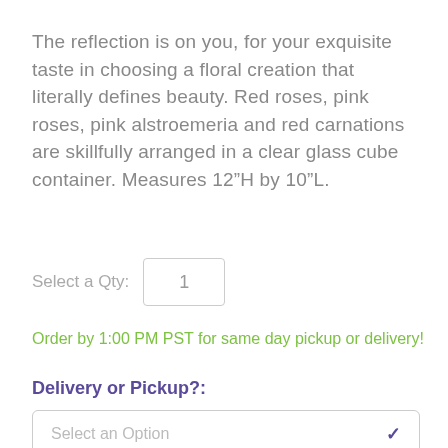The reflection is on you, for your exquisite taste in choosing a floral creation that literally defines beauty. Red roses, pink roses, pink alstroemeria and red carnations are skillfully arranged in a clear glass cube container. Measures 12"H by 10"L.
Select a Qty: 1
Order by 1:00 PM PST for same day pickup or delivery!
Delivery or Pickup?:
Select an Option